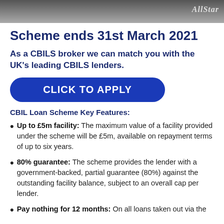[Figure (photo): Dark photograph strip with 'AllStar' watermark in top-right corner]
Scheme ends 31st March 2021
As a CBILS broker we can match you with the UK's leading CBILS lenders.
CLICK TO APPLY
CBIL Loan Scheme Key Features:
Up to £5m facility: The maximum value of a facility provided under the scheme will be £5m, available on repayment terms of up to six years.
80% guarantee: The scheme provides the lender with a government-backed, partial guarantee (80%) against the outstanding facility balance, subject to an overall cap per lender.
Pay nothing for 12 months: On all loans taken out via the